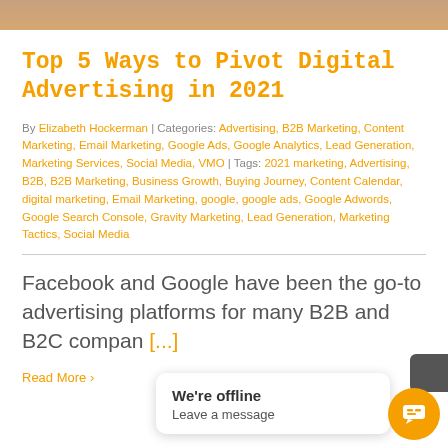[Figure (photo): Partial photo of a person at the top of the page]
Top 5 Ways to Pivot Digital Advertising in 2021
By Elizabeth Hockerman | Categories: Advertising, B2B Marketing, Content Marketing, Email Marketing, Google Ads, Google Analytics, Lead Generation, Marketing Services, Social Media, VMO | Tags: 2021 marketing, Advertising, B2B, B2B Marketing, Business Growth, Buying Journey, Content Calendar, digital marketing, Email Marketing, google, google ads, Google Adwords, Google Search Console, Gravity Marketing, Lead Generation, Marketing Tactics, Social Media
Facebook and Google have been the go-to advertising platforms for many B2B and B2C compan [...]
Read More >
We're offline
Leave a message